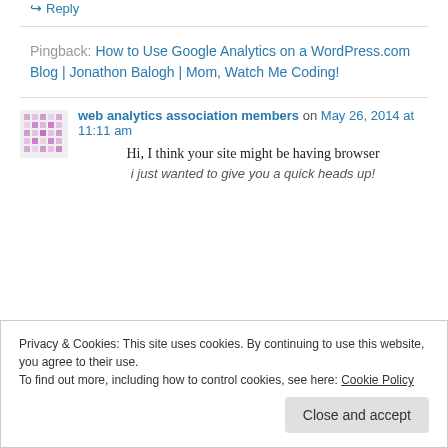↪ Reply
Pingback: How to Use Google Analytics on a WordPress.com Blog | Jonathon Balogh | Mom, Watch Me Coding!
web analytics association members on May 26, 2014 at 11:11 am
Hi, I think your site might be having browser
Privacy & Cookies: This site uses cookies. By continuing to use this website, you agree to their use. To find out more, including how to control cookies, see here: Cookie Policy
Close and accept